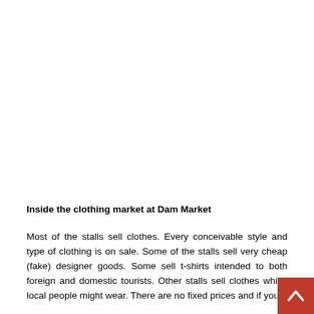Inside the clothing market at Dam Market
Most of the stalls sell clothes. Every conceivable style and type of clothing is on sale. Some of the stalls sell very cheap (fake) designer goods. Some sell t-shirts intended to both foreign and domestic tourists. Other stalls sell clothes which local people might wear. There are no fixed prices and if you